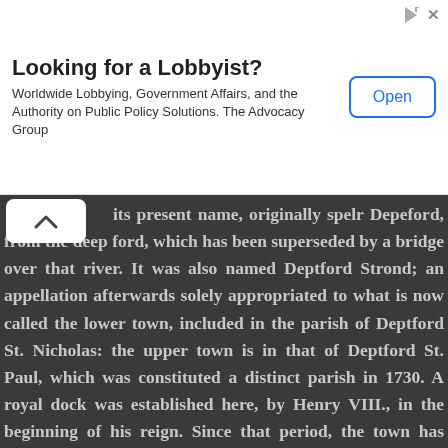[Figure (other): Advertisement banner: Looking for a Lobbyist? Worldwide Lobbying, Government Affairs, and the Authority on Public Policy Solutions. The Advocacy Group. Open button.]
its present name, originally spelr Depeford, from the deep ford, which has been superseded by a bridge over that river. It was also named Deptford Strond; an appellation afterwards solely appropriated to what is now called the lower town, included in the parish of Deptford St. Nicholas: the upper town is in that of Deptford St. Paul, which was constituted a distinct parish in 1730. A royal dock was established here, by Henry VIII., in the beginning of his reign. Since that period, the town has progressively increased; its population having augmented in the proportion of twenty to one, though it experienced a considerable check in 1665 and 1666, when nearly 900 persons died here of the plague. The manor was given by the Conqueror to Gilbert de Magnimot, who made it the